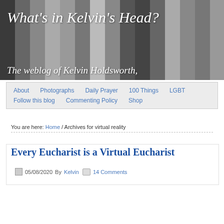[Figure (photo): Blog header banner with gray textured background showing What's in Kelvin's Head? - The weblog of Kelvin Holdsworth, text in white italic serif font]
What’s in Kelvin’s Head?
The weblog of Kelvin Holdsworth,
About  Photographs  Daily Prayer  100 Things  LGBT  Follow this blog  Commenting Policy  Shop
You are here: Home / Archives for virtual reality
Every Eucharist is a Virtual Eucharist
05/08/2020 By Kelvin  14 Comments
[Figure (photo): Partial view of a blue decorative religious item or vestment, partially cropped at bottom of page]